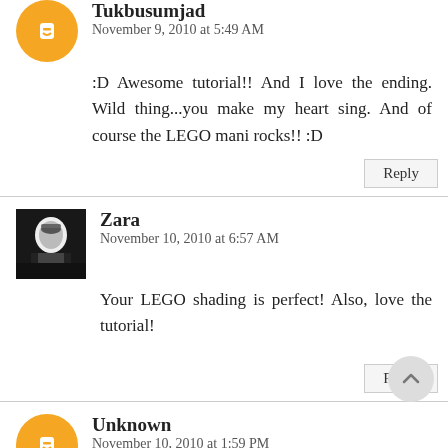[Figure (illustration): Orange circular blogger avatar with white B icon, partially visible at top]
Tukbusumjad
November 9, 2010 at 5:49 AM
:D Awesome tutorial!! And I love the ending. Wild thing...you make my heart sing. And of course the LEGO mani rocks!! :D
Reply
[Figure (photo): Black and white photo of a person with dramatic makeup]
Zara
November 10, 2010 at 6:57 AM
Your LEGO shading is perfect! Also, love the tutorial!
Reply
[Figure (illustration): Orange circular blogger avatar with white B icon]
Unknown
November 10, 2010 at 1:59 PM
didnt realize you cursed so much hahah i loved